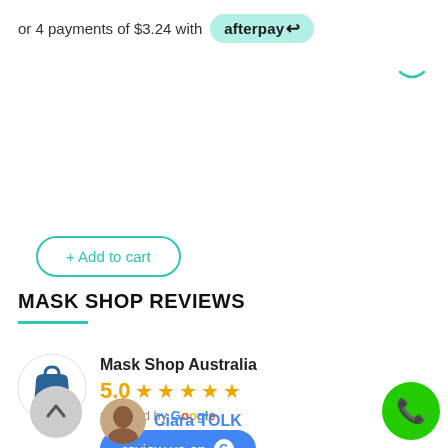or 4 payments of $3.24 with afterpay
+ Add to cart
MASK SHOP REVIEWS
[Figure (logo): Mask Shop Australia logo — teal shopping bag with smiley face on circular white background]
Mask Shop Australia
5.0 ★★★★★
powered by Google
review us on Google
Ciara TOLK